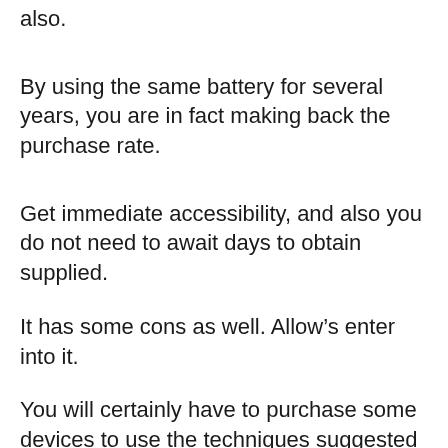also.
By using the same battery for several years, you are in fact making back the purchase rate.
Get immediate accessibility, and also you do not need to await days to obtain supplied.
It has some cons as well. Allow’s enter into it.
You will certainly have to purchase some devices to use the techniques suggested by Tom and Frank, which could be extra costs for you.